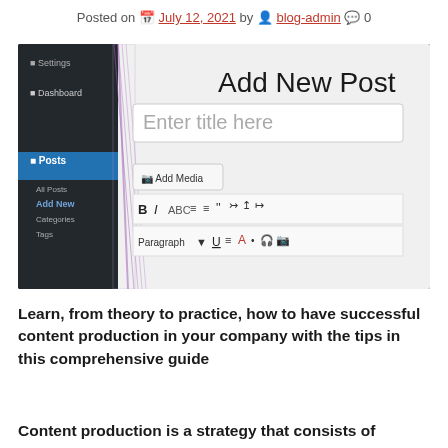Posted on July 12, 2021 by blog-admin 0
[Figure (screenshot): Screenshot of WordPress 'Add New Post' editor interface showing the title field with 'Enter title here' placeholder, Add Media button, and formatting toolbar with Bold, Italic, and other text formatting options, alongside a dark sidebar navigation.]
Learn, from theory to practice, how to have successful content production in your company with the tips in this comprehensive guide
Content production is a strategy that consists of